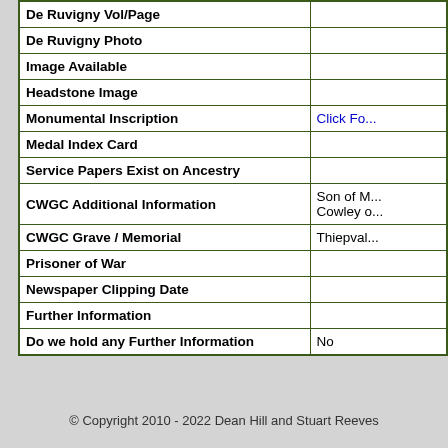| Field | Value |
| --- | --- |
| De Ruvigny Vol/Page |  |
| De Ruvigny Photo |  |
| Image Available |  |
| Headstone Image |  |
| Monumental Inscription | Click Fo... |
| Medal Index Card |  |
| Service Papers Exist on Ancestry |  |
| CWGC Additional Information | Son of M... Cowley o... |
| CWGC Grave / Memorial | Thiepval... |
| Prisoner of War |  |
| Newspaper Clipping Date |  |
| Further Information |  |
| Do we hold any Further Information | No |
Print this page
© Copyright 2010 - 2022 Dean Hill and Stuart Reeves